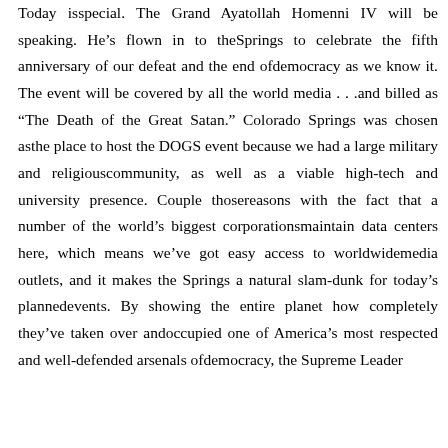Today isspecial. The Grand Ayatollah Homenni IV will be speaking. He's flown in to theSprings to celebrate the fifth anniversary of our defeat and the end ofdemocracy as we know it. The event will be covered by all the world media . . .and billed as "The Death of the Great Satan." Colorado Springs was chosen asthe place to host the DOGS event because we had a large military and religiouscommunity, as well as a viable high-tech and university presence. Couple thosereasons with the fact that a number of the world's biggest corporationsmaintain data centers here, which means we've got easy access to worldwidemedia outlets, and it makes the Springs a natural slam-dunk for today's plannedevents. By showing the entire planet how completely they've taken over andoccupied one of America's most respected and well-defended arsenals ofdemocracy, the Supreme Leader